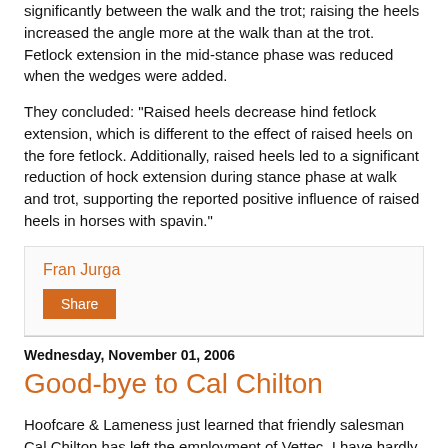significantly between the walk and the trot; raising the heels increased the angle more at the walk than at the trot. Fetlock extension in the mid-stance phase was reduced when the wedges were added.
They concluded: "Raised heels decrease hind fetlock extension, which is different to the effect of raised heels on the fore fetlock. Additionally, raised heels led to a significant reduction of hock extension during stance phase at walk and trot, supporting the reported positive influence of raised heels in horses with spavin."
Fran Jurga
Share
Wednesday, November 01, 2006
Good-bye to Cal Chilton
Hoofcare & Lameness just learned that friendly salesman Cal Chilton has left the employment of Vettec. I have hardly